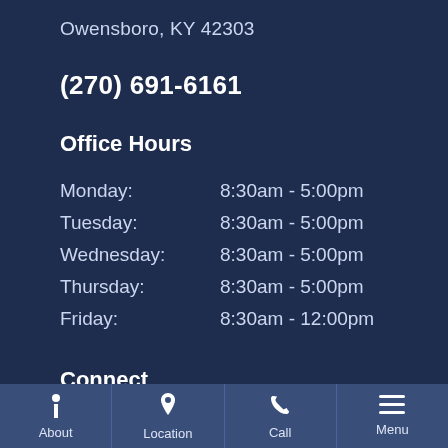Owensboro, KY 42303
(270) 691-6161
Office Hours
| Day | Hours |
| --- | --- |
| Monday: | 8:30am - 5:00pm |
| Tuesday: | 8:30am - 5:00pm |
| Wednesday: | 8:30am - 5:00pm |
| Thursday: | 8:30am - 5:00pm |
| Friday: | 8:30am - 12:00pm |
Connect
About | Location | Call | Menu